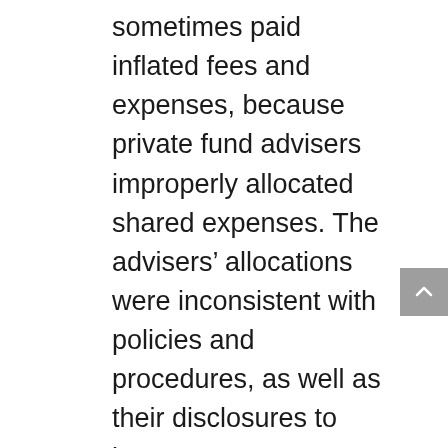sometimes paid inflated fees and expenses, because private fund advisers improperly allocated shared expenses. The advisers’ allocations were inconsistent with policies and procedures, as well as their disclosures to investors. Some advisers did not adequately disclose operating partners’ role and compensation. In some instances, clients were charged for expenses that were not allowed by the fund’s operating agreements. Advisers also failed to comply with the contractual limits on certain expenses and did not adhere to their travel and entertainment expense policies and procedures. In addition